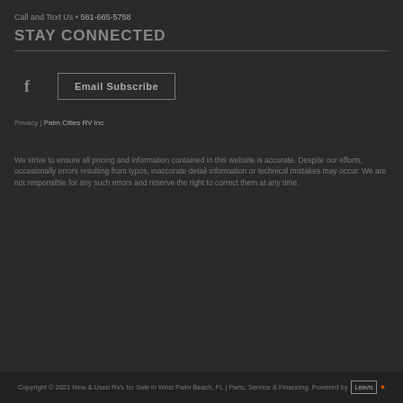Call and Text Us • 561-665-5758
STAY CONNECTED
[Figure (other): Facebook icon and Email Subscribe button]
Privacy | Palm Cities RV Inc
We strive to ensure all pricing and information contained in this website is accurate. Despite our efforts, occasionally errors resulting from typos, inaccurate detail information or technical mistakes may occur. We are not responsible for any such errors and reserve the right to correct them at any time.
Copyright © 2021 New & Used RVs for Sale in West Palm Beach, FL | Parts, Service & Financing. Powered by Leavis ●